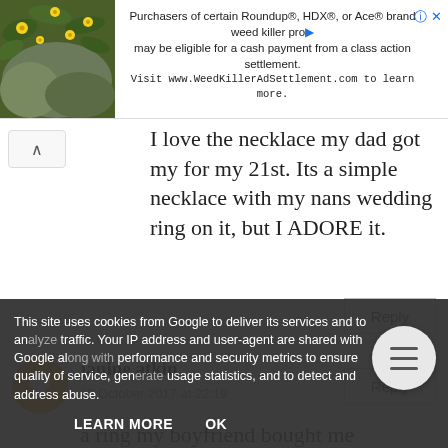[Figure (screenshot): Advertisement banner for Roundup/HDX/Ace weed killer class action settlement with plant image on left]
Purchasers of certain Roundup®, HDX®, or Ace® brand weed killer products may be eligible for a cash payment from a class action settlement. Visit www.WeedKillerAdSettlement.com to learn more.
I love the necklace my dad got my for my 21st. Its a simple necklace with my nans wedding ring on it, but I ADORE it.
janine atkin
25 October 2017 at 22:19
a ring my boyfriend bought me
Natalie Cherman
26 October 2017 at 00:04
This site uses cookies from Google to deliver its services and to analyze traffic. Your IP address and user-agent are shared with Google along with performance and security metrics to ensure quality of service, generate usage statistics, and to detect and address abuse.